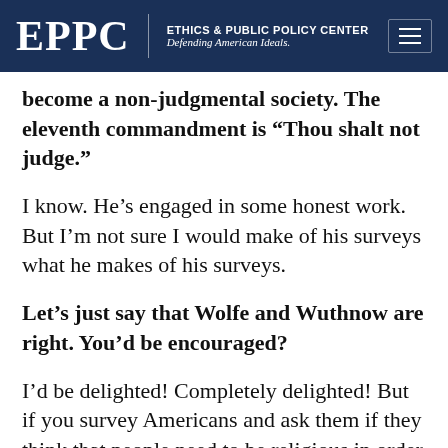EPPC | ETHICS & PUBLIC POLICY CENTER Defending American Ideals.
become a non-judgmental society. The eleventh commandment is “Thou shalt not judge.”
I know. He’s engaged in some honest work. But I’m not sure I would make of his surveys what he makes of his surveys.
Let’s just say that Wolfe and Wuthnow are right. You’d be encouraged?
I’d be delighted! Completely delighted! But if you survey Americans and ask them if they think that people need to be religious in order